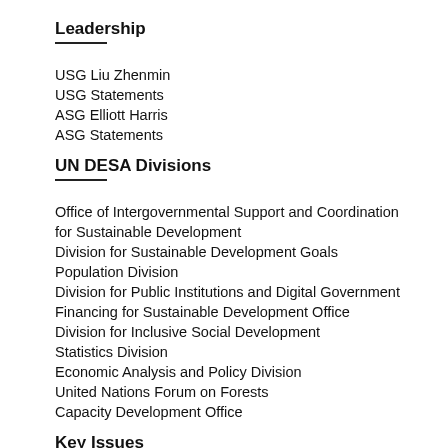Leadership
USG Liu Zhenmin
USG Statements
ASG Elliott Harris
ASG Statements
UN DESA Divisions
Office of Intergovernmental Support and Coordination for Sustainable Development
Division for Sustainable Development Goals
Population Division
Division for Public Institutions and Digital Government
Financing for Sustainable Development Office
Division for Inclusive Social Development
Statistics Division
Economic Analysis and Policy Division
United Nations Forum on Forests
Capacity Development Office
Key Issues
Intergovernmental Coordination
Sustainable Development
Population